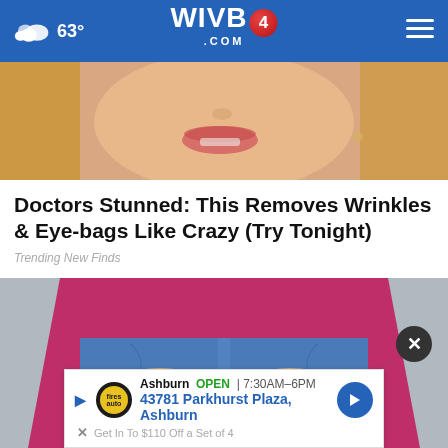63° WIVB4.COM
[Figure (photo): Close-up photo of a blonde woman's lower face and neck]
Doctors Stunned: This Removes Wrinkles & Eye-bags Like Crazy (Try Tonight)
Trending New Finds
[Figure (photo): Photo of a person in a pink/magenta top and blue jeans, hands clasped at waist]
Ashburn OPEN | 7:30AM-6PM
43781 Parkhurst Plaza, Ashburn
Get In To $110 Off a Set of 4